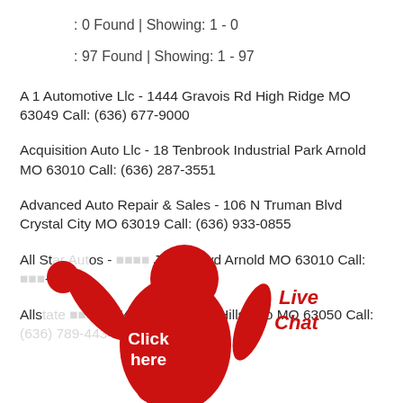: 0 Found | Showing: 1 - 0
: 97 Found | Showing: 1 - 97
A 1 Automotive Llc - 1444 Gravois Rd High Ridge MO 63049 Call: (636) 677-9000
Acquisition Auto Llc - 18 Tenbrook Industrial Park Arnold MO 63010 Call: (636) 287-3551
Advanced Auto Repair & Sales - 106 N Truman Blvd Crystal City MO 63019 Call: (636) 933-0855
All Star Autos - [obscured] Jeffco Blvd Arnold MO 63010 Call: [obscured]-9988
Allstate [obscured] - 8749 Highway 21 Hillsboro MO 63050 Call: (636) 789-4434